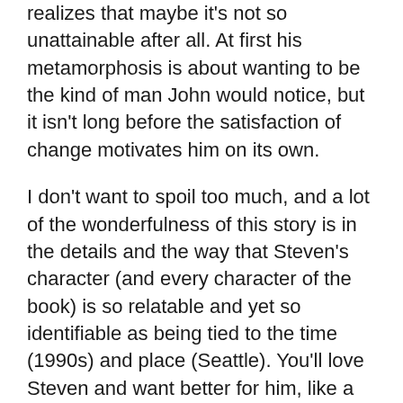realizes that maybe it's not so unattainable after all. At first his metamorphosis is about wanting to be the kind of man John would notice, but it isn't long before the satisfaction of change motivates him on its own.
I don't want to spoil too much, and a lot of the wonderfulness of this story is in the details and the way that Steven's character (and every character of the book) is so relatable and yet so identifiable as being tied to the time (1990s) and place (Seattle). You'll love Steven and want better for him, like a mother hen ghost, silently following him as a reader and rooting for him to make better choices and then cheering when he finally does.
Speaking of Seattle, the city also is the...